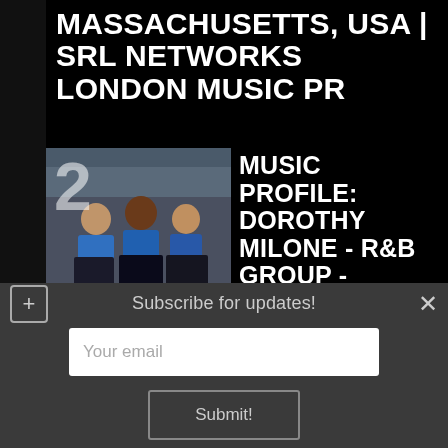MASSACHUSETTS, USA | SRL NETWORKS LONDON MUSIC PR
[Figure (photo): Three young women in blue and black outfits posing together, with a large number 2 overlaid on the left side of the image]
MUSIC PROFILE: DOROTHY MILONE - R&B GROUP - WASHINGTON, USA | SRL NETWORKS LONDON MUSIC PR
Subscribe for updates!
Your email
Submit!